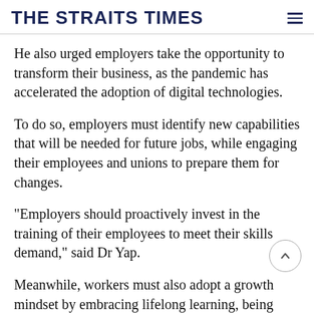THE STRAITS TIMES
He also urged employers take the opportunity to transform their business, as the pandemic has accelerated the adoption of digital technologies.
To do so, employers must identify new capabilities that will be needed for future jobs, while engaging their employees and unions to prepare them for changes.
"Employers should proactively invest in the training of their employees to meet their skills demand," said Dr Yap.
Meanwhile, workers must also adopt a growth mindset by embracing lifelong learning, being resilient amid constant changes and taking